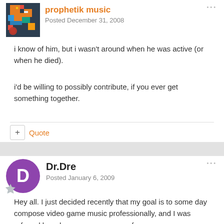prophetik music — Posted December 31, 2008
i know of him, but i wasn't around when he was active (or when he died).
i'd be willing to possibly contribute, if you ever get something together.
+ Quote
Dr.Dre — Posted January 6, 2009
Hey all. I just decided recently that my goal is to some day compose video game music professionally, and I was referred here by someone on gamefaqs.com.
I am 19 years old and a pretty accomplished clarinet player. I study music at the University of Vermont and am about to start my fourth semester. I enjoy competitive ultimate frisbee.